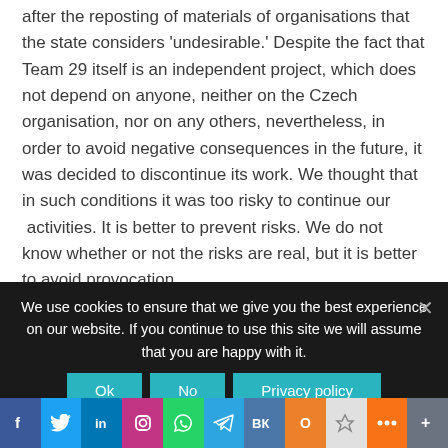after the reposting of materials of organisations that the state considers 'undesirable.' Despite the fact that Team 29 itself is an independent project, which does not depend on anyone, neither on the Czech organisation, nor on any others, nevertheless, in order to avoid negative consequences in the future, it was decided to discontinue its work. We thought that in such conditions it was too risky to continue our  activities. It is better to prevent risks. We do not know whether or not the risks are real, but it is better to avoid provocation.

In our official statement, we indicated that we plan to appeal the decision to include the Team 29 website in the register of banned sites. But we haven't started that action
We use cookies to ensure that we give you the best experience on our website. If you continue to use this site we will assume that you are happy with it.